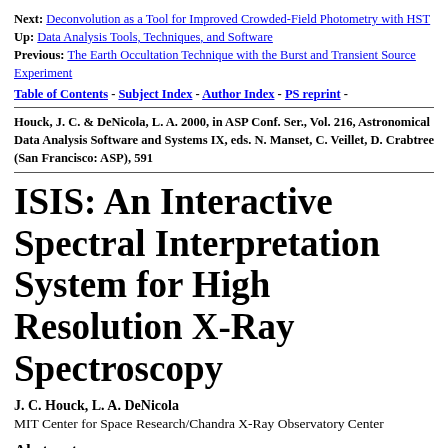Next: Deconvolution as a Tool for Improved Crowded-Field Photometry with HST
Up: Data Analysis Tools, Techniques, and Software
Previous: The Earth Occultation Technique with the Burst and Transient Source Experiment
Table of Contents - Subject Index - Author Index - PS reprint -
Houck, J. C. & DeNicola, L. A. 2000, in ASP Conf. Ser., Vol. 216, Astronomical Data Analysis Software and Systems IX, eds. N. Manset, C. Veillet, D. Crabtree (San Francisco: ASP), 591
ISIS: An Interactive Spectral Interpretation System for High Resolution X-Ray Spectroscopy
J. C. Houck, L. A. DeNicola
MIT Center for Space Research/Chandra X-Ray Observatory Center
Abstract: